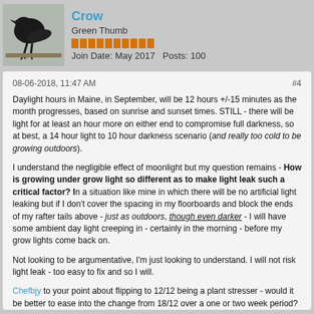Crow
Green Thumb
Join Date: May 2017   Posts: 100
08-06-2018, 11:47 AM
#4

Daylight hours in Maine, in September, will be 12 hours +/-15 minutes as the month progresses, based on sunrise and sunset times. STILL - there will be light for at least an hour more on either end to compromise full darkness, so at best, a 14 hour light to 10 hour darkness scenario (and really too cold to be growing outdoors).

I understand the negligible effect of moonlight but my question remains - How is growing under grow light so different as to make light leak such a critical factor? In a situation like mine in which there will be no artificial light leaking but if I don't cover the spacing in my floorboards and block the ends of my rafter tails above - just as outdoors, though even darker - I will have some ambient day light creeping in - certainly in the morning - before my grow lights come back on.

Not looking to be argumentative, I'm just looking to understand. I will not risk light leak - too easy to fix and so I will.

Chefbjy to your point about flipping to 12/12 being a plant stresser - would it be better to ease into the change from 18/12 over a one or two week period?

Thanks all for chiming in.

Crow